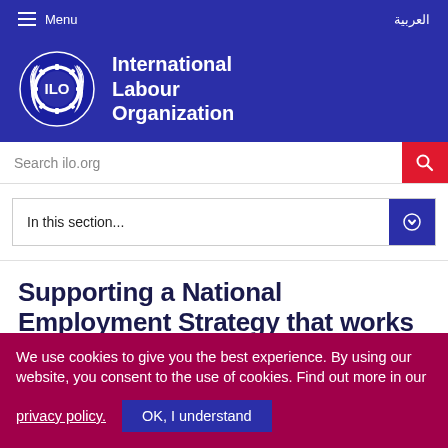Menu | العربية
[Figure (logo): ILO logo — circular emblem with gear and olive branches surrounding ILO letters, beside text 'International Labour Organization' in white on blue background]
Search ilo.org
In this section...
Supporting a National Employment Strategy that works
We use cookies to give you the best experience. By using our website, you consent to the use of cookies. Find out more in our
privacy policy.
OK, I understand